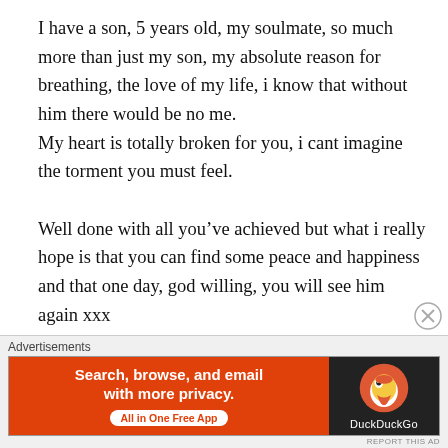I have a son, 5 years old, my soulmate, so much more than just my son, my absolute reason for breathing, the love of my life, i know that without him there would be no me.
My heart is totally broken for you, i cant imagine the torment you must feel.

Well done with all you’ve achieved but what i really hope is that you can find some peace and happiness and that one day, god willing, you will see him again xxx

Bev
[Figure (other): DuckDuckGo advertisement banner. Orange left panel with text 'Search, browse, and email with more privacy.' and 'All in One Free App' button. Dark right panel with DuckDuckGo duck logo and 'DuckDuckGo' text.]
Advertisements